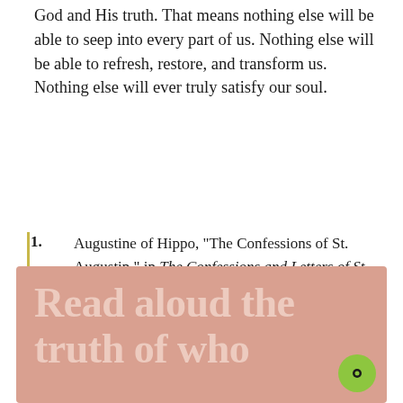God and His truth. That means nothing else will be able to seep into every part of us. Nothing else will be able to refresh, restore, and transform us. Nothing else will ever truly satisfy our soul.
1. Augustine of Hippo, "The Confessions of St. Augustin," in The Confessions and Letters of St. Augustin with a Sketch of His Life and Work, ed. Philip Schaff, trans. J. G. Pilkington, vol. 1, A Select Library of the Nicene and Post-Nicene Fathers of the Christian Church, First Series (Buffalo: Christian Literature Company, 1886), 45.
[Figure (other): Pink/salmon colored box with large bold white/light text reading 'Read aloud the truth of who' with a green circular chat button in the bottom right corner]